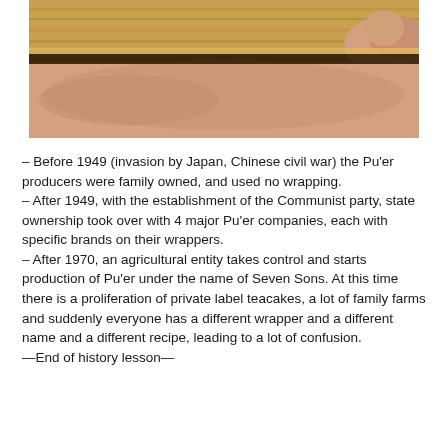[Figure (photo): Close-up photograph of a wooden rod or beam being held by a hand, with skin/flesh visible beneath the wood, suggesting someone pressing or holding the wooden piece.]
– Before 1949 (invasion by Japan, Chinese civil war) the Pu'er producers were family owned, and used no wrapping.
– After 1949, with the establishment of the Communist party, state ownership took over with 4 major Pu'er companies, each with specific brands on their wrappers.
– After 1970, an agricultural entity takes control and starts production of Pu'er under the name of Seven Sons. At this time there is a proliferation of private label teacakes, a lot of family farms and suddenly everyone has a different wrapper and a different name and a different recipe, leading to a lot of confusion.
—End of history lesson—